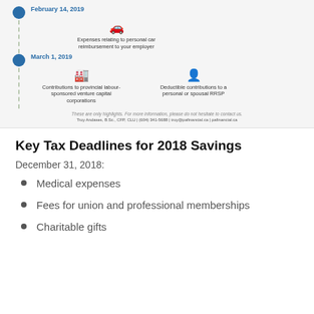[Figure (infographic): Timeline infographic showing tax deadlines. February 14, 2019: Expenses relating to personal car reimbursement to your employer. March 1, 2019: Contributions to provincial labour-sponsored venture capital corporations; Deductible contributions to a personal or spousal RRSP. Footer note: These are only highlights. For more information, please do not hesitate to contact us. Troy Andases, B.Sc., CFP, CLU | (604) 341-5688 | troy@pafinancial.ca | pafinancial.ca]
Key Tax Deadlines for 2018 Savings
December 31, 2018:
Medical expenses
Fees for union and professional memberships
Charitable gifts